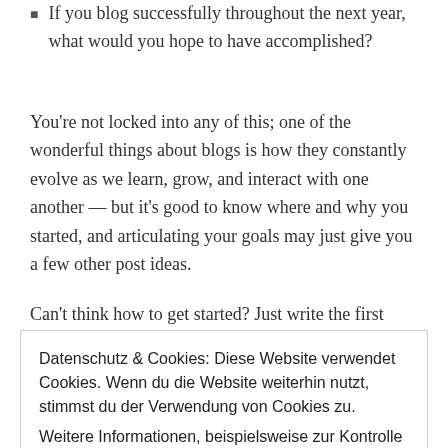If you blog successfully throughout the next year, what would you hope to have accomplished?
You're not locked into any of this; one of the wonderful things about blogs is how they constantly evolve as we learn, grow, and interact with one another — but it's good to know where and why you started, and articulating your goals may just give you a few other post ideas.
Can't think how to get started? Just write the first thing that
Datenschutz & Cookies: Diese Website verwendet Cookies. Wenn du die Website weiterhin nutzt, stimmst du der Verwendung von Cookies zu.
Weitere Informationen, beispielsweise zur Kontrolle von Cookies, findest du hier: Cookie-Richtlinie
[Button: Schließen und Akzeptieren]
that describe your blog's focus — writing, photography, fiction,